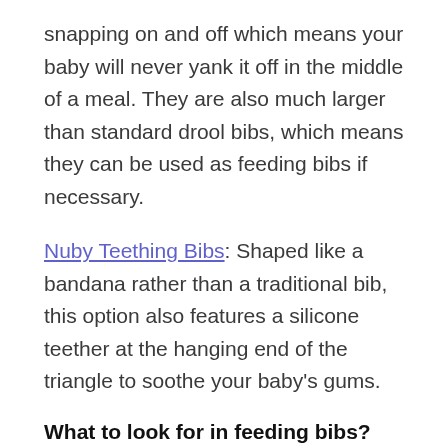snapping on and off which means your baby will never yank it off in the middle of a meal. They are also much larger than standard drool bibs, which means they can be used as feeding bibs if necessary.
Nuby Teething Bibs: Shaped like a bandana rather than a traditional bib, this option also features a silicone teether at the hanging end of the triangle to soothe your baby's gums.
What to look for in feeding bibs?
Feeding bibs tend to have more variation than drool bibs, and your baby will like to be forming his own